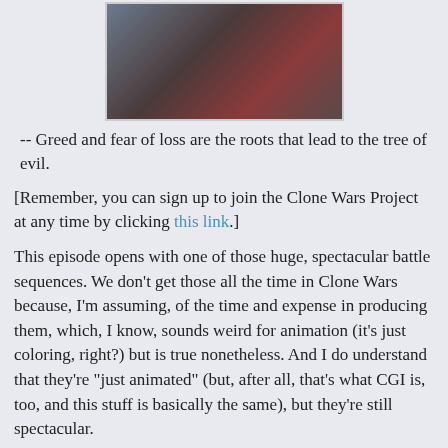[Figure (photo): A screenshot or animation still showing dark-toned characters, appears to be from a Clone Wars animated scene.]
-- Greed and fear of loss are the roots that lead to the tree of evil.
[Remember, you can sign up to join the Clone Wars Project at any time by clicking this link.]
This episode opens with one of those huge, spectacular battle sequences. We don't get those all the time in Clone Wars because, I'm assuming, of the time and expense in producing them, which, I know, sounds weird for animation (it's just coloring, right?) but is true nonetheless. And I do understand that they're "just animated" (but, after all, that's what CGI is, too, and this stuff is basically the same), but they're still spectacular.
This is another episode which features on a fan favorite Jedi from the movies: Aayla Secura. I think when you look at the character, you can easily identify why she's such a favorite. heh
This is an interesting episode in that Anakin and Ahsoka are